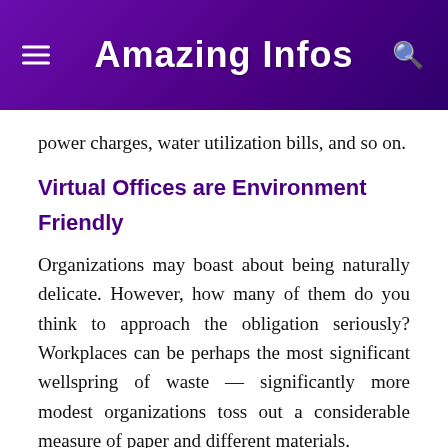Amazing Infos
power charges, water utilization bills, and so on.
Virtual Offices are Environment Friendly
Organizations may boast about being naturally delicate. However, how many of them do you think to approach the obligation seriously? Workplaces can be perhaps the most significant wellspring of waste — significantly more modest organizations toss out a considerable measure of paper and different materials.
At the point when you consider the volume of fossil fuel byproducts from office representatives who drive or transport into work every day, the effect a little